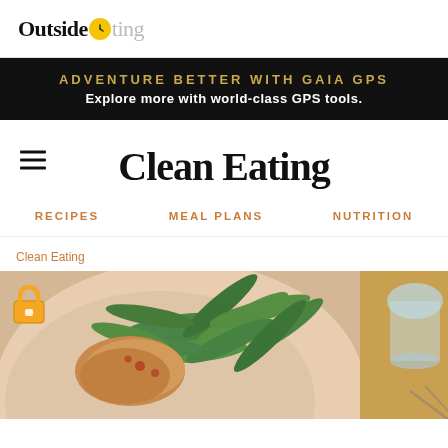Outside (logo with clock icon) ting
ADVENTURE BETTER WITH GAIA GPS
Explore more with world-class GPS tools.
Clean Eating
RECIPES
MEAL PLANS
NUTRITION
Clean Eating
[Figure (photo): A plate with grilled chicken and fresh arugula greens, a golden-colored bowl or plate in the background, and a glass of water. Food styling overhead/angled shot.]